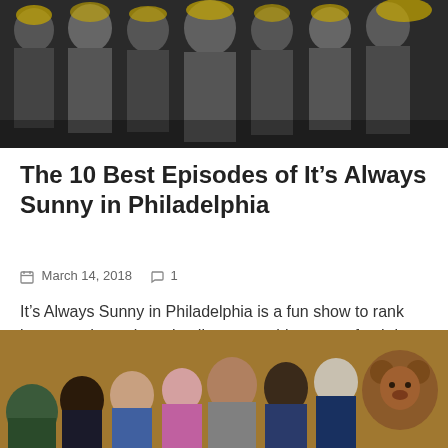[Figure (photo): Black and white promotional image of a group of people with yellow accents, likely the cast of It's Always Sunny in Philadelphia]
The 10 Best Episodes of It’s Always Sunny in Philadelphia
March 14, 2018   1
It’s Always Sunny in Philadelphia is a fun show to rank because due to its episodic nature, things start fresh in pretty much [...]
[Figure (photo): Color photo of a group of people (cast of Parks and Recreation) looking surprised or excited, with a person in a bear costume on the right]